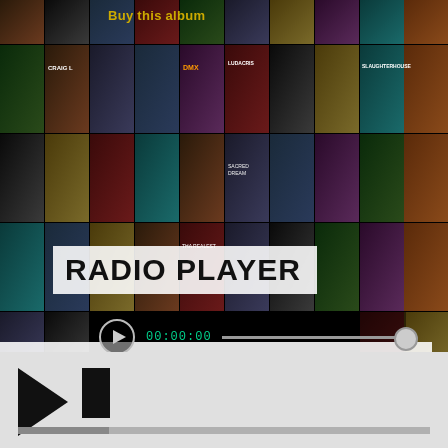[Figure (screenshot): Background mosaic of rap/hip-hop album covers arranged in a grid]
Buy this album
RADIO PLAYER
00:00:00
RECENTLY PLAYED TRACKS
[Figure (infographic): Media player controls: play triangle button, stop/pause square button, and a progress/volume bar at the bottom]